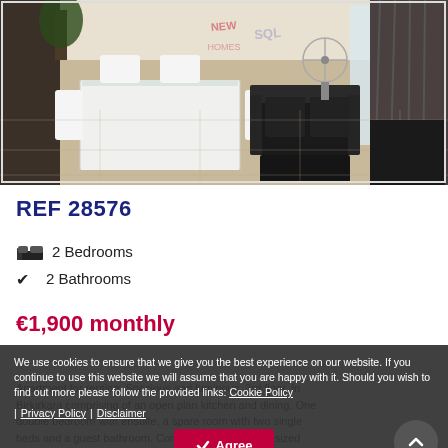[Figure (photo): Interior photo of a modern apartment living/dining area with white table and chairs, black leather sofa, tiled floor, and large window with curtains. Real estate agency watermark 'NEW SQL HOMES' visible.]
REF 28576
2 Bedrooms
2 Bathrooms
€1,900 monthly
We use cookies to ensure that we give you the best experience on our website. If you continue to use this website we will assume that you are happy with it. Should you wish to find out more please follow the provided links: Cookie Policy | Privacy Policy | Disclaimer
Apartment for renting. Spacious and luminous. 3rd floor. In Birkirkara comprising of an open plan kitchen and dining. One double bedroom with ensuite, a spare room with two single beds and a guest bathroom. Complimenting is a well sized backyard ideal for